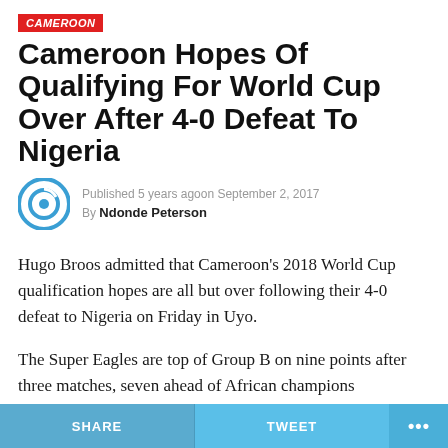CAMEROON
Cameroon Hopes Of Qualifying For World Cup Over After 4-0 Defeat To Nigeria
Published 5 years ago on September 2, 2017
By Ndonde Peterson
Hugo Broos admitted that Cameroon's 2018 World Cup qualification hopes are all but over following their 4-0 defeat to Nigeria on Friday in Uyo.
The Super Eagles are top of Group B on nine points after three matches, seven ahead of African champions Cameroon.
SHARE   TWEET   ...